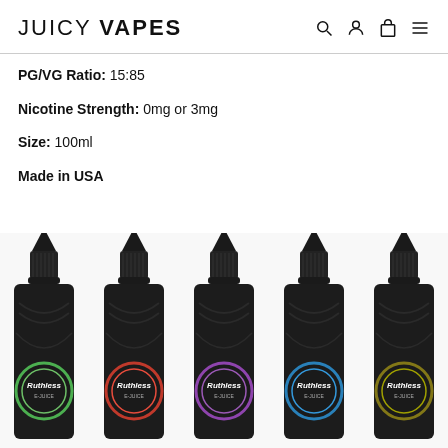JUICY VAPES
PG/VG Ratio: 15:85
Nicotine Strength: 0mg or 3mg
Size: 100ml
Made in USA
[Figure (photo): Five Ruthless brand e-liquid bottles (100ml, black) with different colored circular labels: green, pink/red, purple, blue, and olive/gold, displayed side by side on a white background.]